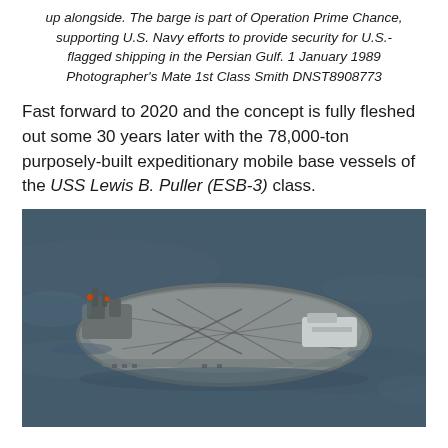up alongside. The barge is part of Operation Prime Chance, supporting U.S. Navy efforts to provide security for U.S.-flagged shipping in the Persian Gulf. 1 January 1989 Photographer's Mate 1st Class Smith DNST8908773
Fast forward to 2020 and the concept is fully fleshed out some 30 years later with the 78,000-ton purposely-built expeditionary mobile base vessels of the USS Lewis B. Puller (ESB-3) class.
[Figure (photo): Aerial photograph of a large naval expeditionary mobile base vessel (ESB class ship) sailing on dark blue ocean water, viewed from above and slightly to the side. The ship has a flat deck with helicopter landing markings, superstructure forward, and a white-colored module aft.]